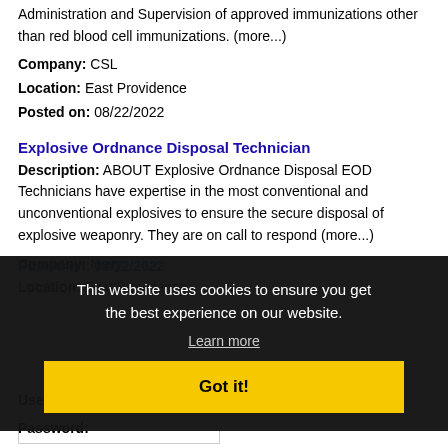Administration and Supervision of approved immunizations other than red blood cell immunizations. (more...)
Company: CSL
Location: East Providence
Posted on: 08/22/2022
Explosive Ordnance Disposal Technician
Description: ABOUT Explosive Ordnance Disposal EOD Technicians have expertise in the most conventional and unconventional explosives to ensure the secure disposal of explosive weaponry. They are on call to respond (more...)
Company: Navy
Location: East Providence
Posted on: 08/22/2022
Location more jobs...
Log In or Create An Account
This website uses cookies to ensure you get the best experience on our website.
Learn more
Got it!
Username:
Password: